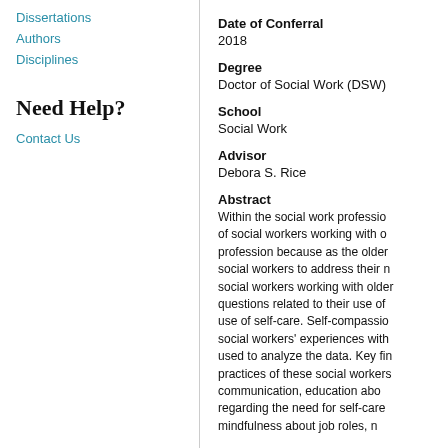Dissertations
Authors
Disciplines
Need Help?
Contact Us
Date of Conferral
2018
Degree
Doctor of Social Work (DSW)
School
Social Work
Advisor
Debora S. Rice
Abstract
Within the social work profession, of social workers working with older profession because as the older social workers to address their needs, social workers working with older questions related to their use of use of self-care. Self-compassion social workers' experiences with used to analyze the data. Key findings practices of these social workers communication, education about regarding the need for self-care mindfulness about job roles, n